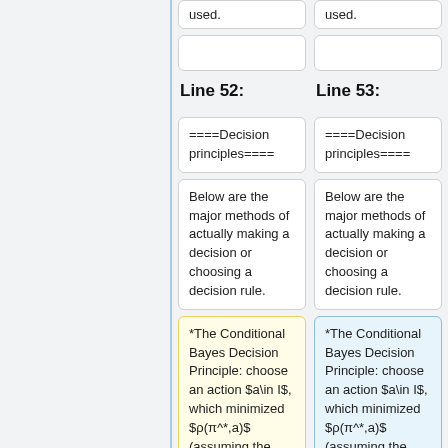used.
used.
Line 52:
Line 53:
====Decision principles====
====Decision principles====
Below are the major methods of actually making a decision or choosing a decision rule.
Below are the major methods of actually making a decision or choosing a decision rule.
*The Conditional Bayes Decision Principle: choose an action $a\in I$, which minimized $\rho(\pi^*,a)$ (assuming the
*The Conditional Bayes Decision Principle: choose an action $a\in I$, which minimized $\rho(\pi^*,a)$ (assuming the